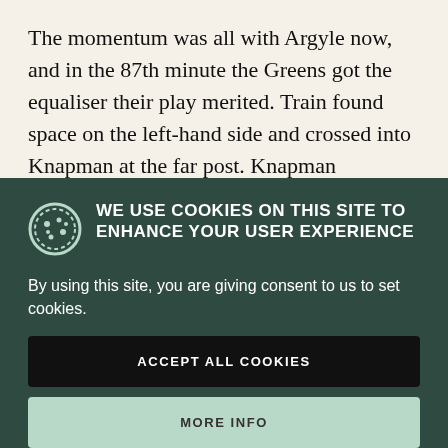The momentum was all with Argyle now, and in the 87th minute the Greens got the equaliser their play merited. Train found space on the left-hand side and crossed into Knapman at the far post. Knapman controlled the ball and fired a composed finish into the bottom left corner to give Argyle a deserved
WE USE COOKIES ON THIS SITE TO ENHANCE YOUR USER EXPERIENCE
By using this site, you are giving consent to us to set cookies.
ACCEPT ALL COOKIES
MORE INFO